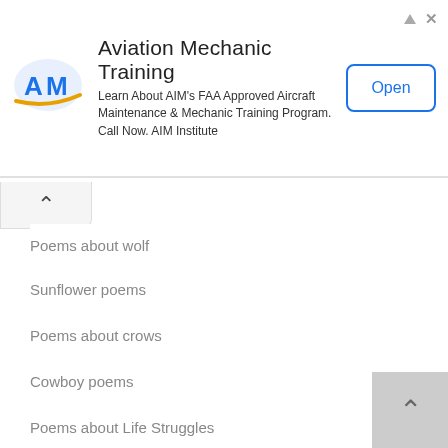[Figure (screenshot): Advertisement banner for Aviation Mechanic Training by AIM Institute. Shows AIM logo (blue AM letters with orange wing), title 'Aviation Mechanic Training', body text about FAA Approved Aircraft Maintenance & Mechanic Training Program, and an 'Open' button.]
Poems about wolf
Sunflower poems
Poems about crows
Cowboy poems
Poems about Life Struggles
Lie poems
Poems about time
Train poems